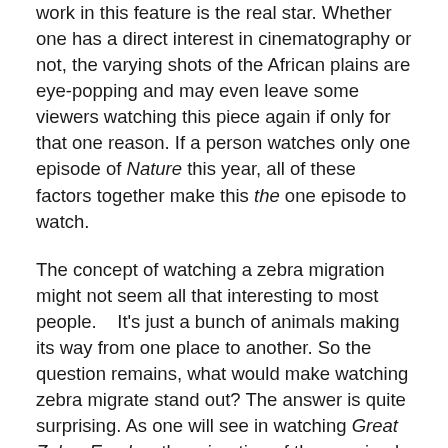work in this feature is the real star. Whether one has a direct interest in cinematography or not, the varying shots of the African plains are eye-popping and may even leave some viewers watching this piece again if only for that one reason. If a person watches only one episode of Nature this year, all of these factors together make this the one episode to watch.
The concept of watching a zebra migration might not seem all that interesting to most people. It's just a bunch of animals making its way from one place to another. So the question remains, what would make watching zebra migrate stand out? The answer is quite surprising. As one will see in watching Great Zebra Exodus, the migration of these animals is anything but ordinary. Viewers see in this episode of Naturethat there is actually quite a bit that zebras go through in their yearly migration across the